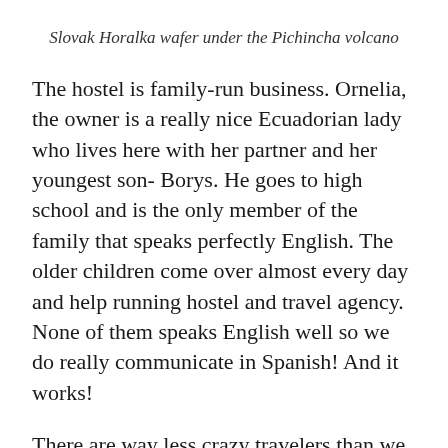Slovak Horalka wafer under the Pichincha volcano
The hostel is family-run business. Ornelia, the owner is a really nice Ecuadorian lady who lives here with her partner and her youngest son- Borys. He goes to high school and is the only member of the family that speaks perfectly English. The older children come over almost every day and help running hostel and travel agency. None of them speaks English well so we do really communicate in Spanish! And it works!
There are way less crazy travelers than we used to meet on a daily basis at the hostel in Malaysia, but there are still many interesting backpackers worth